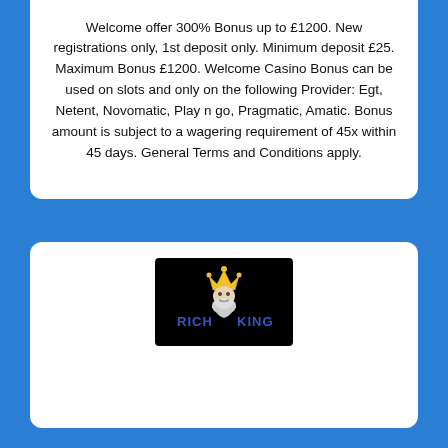Welcome offer 300% Bonus up to £1200. New registrations only, 1st deposit only. Minimum deposit £25. Maximum Bonus £1200. Welcome Casino Bonus can be used on slots and only on the following Provider: Egt, Netent, Novomatic, Play n go, Pragmatic, Amatic. Bonus amount is subject to a wagering requirement of 45x within 45 days. General Terms and Conditions apply.
[Figure (logo): Rich King casino logo on black background showing a king with crown and beard, with text RICH KING in blue letters]